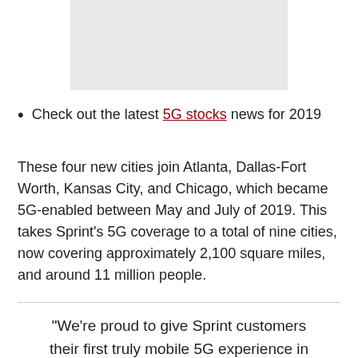[Figure (other): Gray rectangular image placeholder at top of page]
Check out the latest 5G stocks news for 2019
These four new cities join Atlanta, Dallas-Fort Worth, Kansas City, and Chicago, which became 5G-enabled between May and July of 2019. This takes Sprint's 5G coverage to a total of nine cities, now covering approximately 2,100 square miles, and around 11 million people.
"We're proud to give Sprint customers their first truly mobile 5G experience in some of the